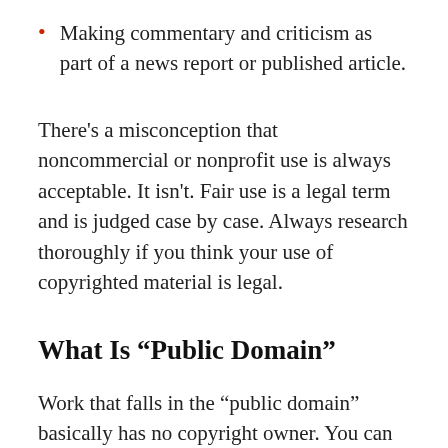Making commentary and criticism as part of a news report or published article.
There's a misconception that noncommercial or nonprofit use is always acceptable. It isn't. Fair use is a legal term and is judged case by case. Always research thoroughly if you think your use of copyrighted material is legal.
What Is “Public Domain”
Work that falls in the “public domain” basically has no copyright owner. You can use, modify and redistribute it to your heart’s content. An author can forfeit their copyright and, thus, put their work in the public